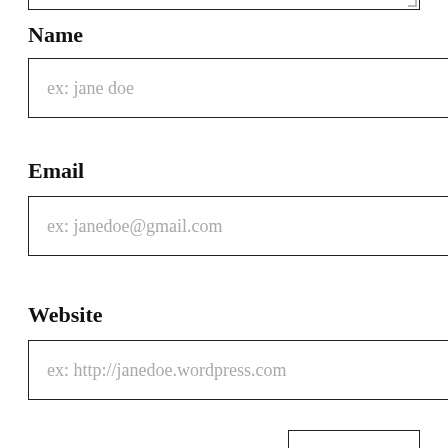[text area top border fragment]
Name
ex: jane doe
Email
ex: janedoe@gmail.com
Website
ex: http://janedoe.wordpress.com